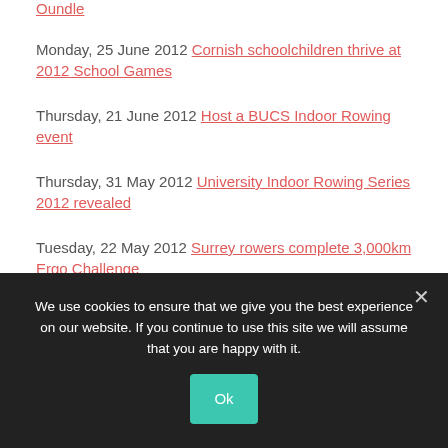Oundle
Monday, 25 June 2012 Cornish schoolchildren thrive at 2012 School Games
Thursday, 21 June 2012 Host a BUCS Indoor Rowing event
Thursday, 31 May 2012 University Indoor Rowing Series 2012 revealed
Tuesday, 22 May 2012 Surrey rowers complete 3,000km Ergo Challenge
We use cookies to ensure that we give you the best experience on our website. If you continue to use this site we will assume that you are happy with it.